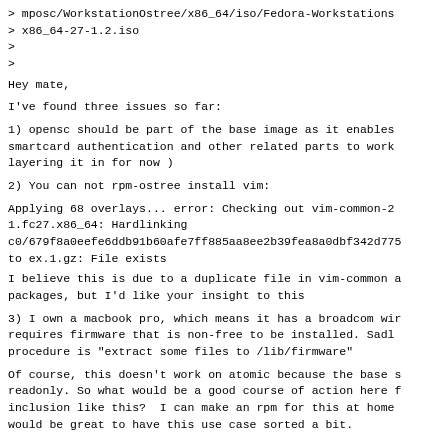> mposc/WorkstationOstree/x86_64/iso/Fedora-Workstations
> x86_64-27-1.2.iso
>
>
Hey mate,
I've found three issues so far:
1) opensc should be part of the base image as it enables
smartcard authentication and other related parts to work
layering it in for now )
2) You can not rpm-ostree install vim:
Applying 68 overlays... error: Checking out vim-common-2
1.fc27.x86_64: Hardlinking
c0/679f8a0eefe6ddb91b60afe7ff885aa8ee2b39fea8a0dbf342d775
to ex.1.gz: File exists
I believe this is due to a duplicate file in vim-common a
packages, but I'd like your insight to this
3) I own a macbook pro, which means it has a broadcom wir
requires firmware that is non-free to be installed. Sadl
procedure is "extract some files to /lib/firmware"
Of course, this doesn't work on atomic because the base s
readonly. So what would be a good course of action here f
inclusion like this?  I can make an rpm for this at home
would be great to have this use case sorted a bit.